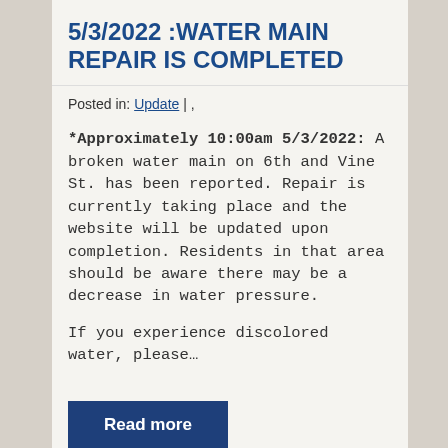5/3/2022 :WATER MAIN REPAIR IS COMPLETED
Posted in: Update | ,
*Approximately 10:00am 5/3/2022: A broken water main on 6th and Vine St. has been reported. Repair is currently taking place and the website will be updated upon completion. Residents in that area should be aware there may be a decrease in water pressure.

If you experience discolored water, please…
Read more
VOTE! ELECTION TUESDAY, MAY 3, 2022...